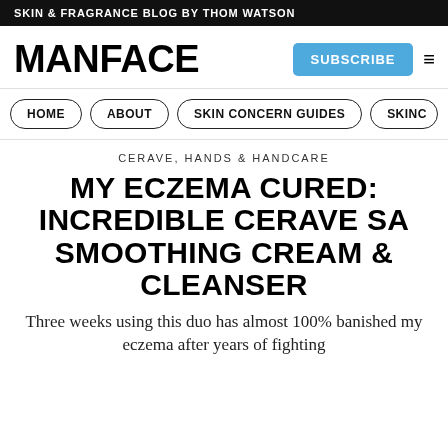SKIN & FRAGRANCE BLOG BY THOM WATSON
MANFACE
HOME ABOUT SKIN CONCERN GUIDES SKINC...
CERAVE, HANDS & HANDCARE
MY ECZEMA CURED: INCREDIBLE CERAVE SA SMOOTHING CREAM & CLEANSER
Three weeks using this duo has almost 100% banished my eczema after years of fighting